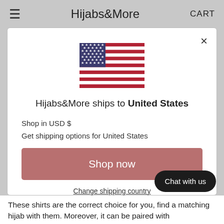≡  Hijabs&More  CART
[Figure (screenshot): Modal dialog with US flag, shipping info, and shop now button]
These shirts are the correct choice for you, find a matching hijab with them. Moreover, it can be paired with